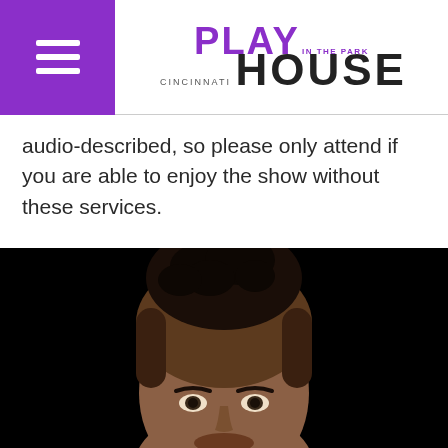Cincinnati Playhouse in the Park
audio-described, so please only attend if you are able to enjoy the show without these services.
[Figure (photo): Close-up portrait of a young man with curly hair on top and a fade haircut, against a dark/black background. Only the face and top of head are visible.]